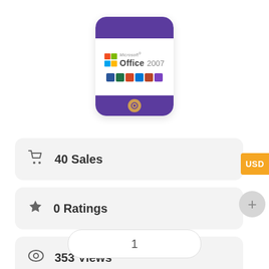[Figure (illustration): Microsoft Office 2007 product box with purple top and bottom bands, Office logo with colored squares, app icons row, shown as rounded card]
40 Sales
0 Ratings
353 Views
USD
1